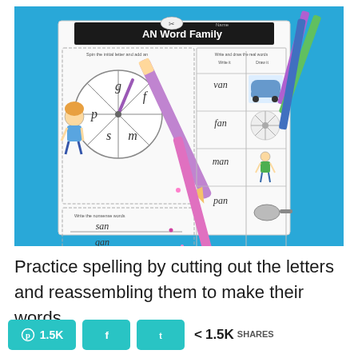[Figure (photo): Photo of an 'AN Word Family' worksheet on a blue surface, showing a spinner with letters g, p, f, s, m, handwritten words van, fan, man, pan with drawings, and nonsense words san, gan. Colored pencils are visible on top of the worksheet.]
Practice spelling by cutting out the letters and reassembling them to make their words.
1.5K   [Pinterest]   [Facebook]   [Twitter]   < 1.5K SHARES